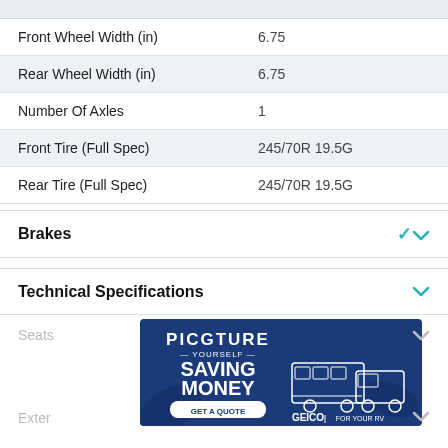| Specification | Value |
| --- | --- |
| Front Wheel Width (in) | 6.75 |
| Rear Wheel Width (in) | 6.75 |
| Number Of Axles | 1 |
| Front Tire (Full Spec) | 245/70R 19.5G |
| Rear Tire (Full Spec) | 245/70R 19.5G |
Brakes
Technical Specifications
[Figure (advertisement): GEICO advertisement: PICTURE YOURSELF SAVING MONEY - GET A QUOTE - GEICO FOR YOUR RV, dark blue background with illustration of truck towing RV]
Seats
Exter